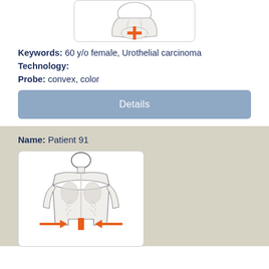[Figure (illustration): Medical body diagram showing front torso/pelvis with orange cross/plus marker indicating area of interest, skeletal overlay visible]
Keywords: 60 y/o female, Urothelial carcinoma
Technology:
Probe: convex, color
Details
Name: Patient 91
[Figure (illustration): Medical body diagram showing posterior torso with orange arrows pointing inward at the lower back/kidney region, skeletal overlay visible]